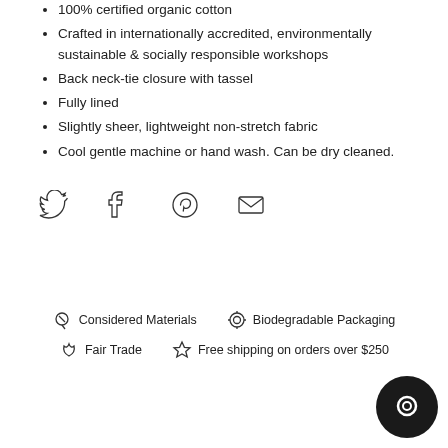100% certified organic cotton
Crafted in internationally accredited, environmentally sustainable & socially responsible workshops
Back neck-tie closure with tassel
Fully lined
Slightly sheer, lightweight non-stretch fabric
Cool gentle machine or hand wash. Can be dry cleaned.
[Figure (infographic): Social media share icons: Twitter, Facebook, Pinterest, Email]
[Figure (infographic): Footer badges: Considered Materials, Biodegradable Packaging, Fair Trade, Free shipping on orders over $250]
[Figure (other): Chat bubble button in bottom right corner]